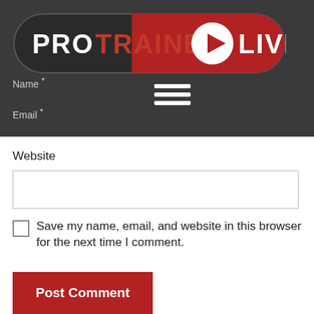[Figure (logo): ProTrainer Live logo — dark pill-shaped background with white and red text reading PRO TRAINER LIVE with a play button icon]
Name *
Email *
Website
Save my name, email, and website in this browser for the next time I comment.
Post Comment